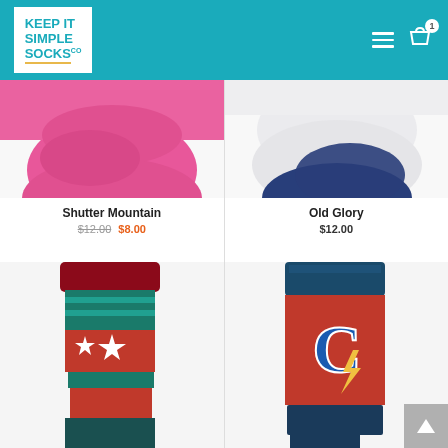[Figure (logo): Keep It Simple Socks Co logo — white box with teal text on teal header background]
[Figure (photo): Pink sock bottom/toe close-up on white background]
[Figure (photo): Gray and white sock bottom with navy blue toe on white background]
Shutter Mountain
$12.00 $8.00
Old Glory
$12.00
[Figure (photo): Stars and stripes sock with dark red, teal, and red sections and white stars]
[Figure (photo): Cavaliers-style sock with navy cuff, red body, letter C and lightning bolt graphic]